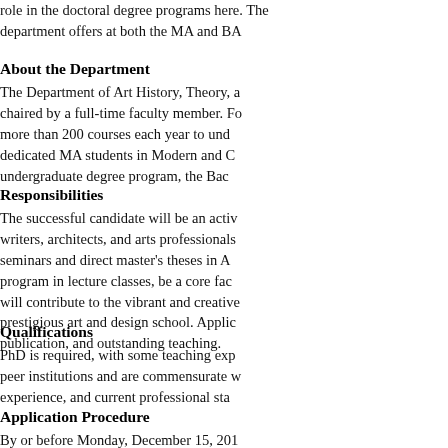role in the doctoral degree programs here. The department offers at both the MA and BA...
About the Department
The Department of Art History, Theory, a... chaired by a full-time faculty member. Fo... more than 200 courses each year to und... dedicated MA students in Modern and C... undergraduate degree program, the Bac...
Responsibilities
The successful candidate will be an activ... writers, architects, and arts professionals... seminars and direct master's theses in A... program in lecture classes, be a core fac... will contribute to the vibrant and creative... prestigious art and design school. Applic... publication, and outstanding teaching.
Qualifications
PhD is required, with some teaching exp... peer institutions and are commensurate ... experience, and current professional sta...
Application Procedure
By or before Monday, December 15, 201... SAICfaculty.slideroom.com. You will cr... a combination of fill-in fields and uploade... application well before the deadline. App... until the final submission. Once an applic... revisions. No late applications may be su... application fees; you will not be charged...